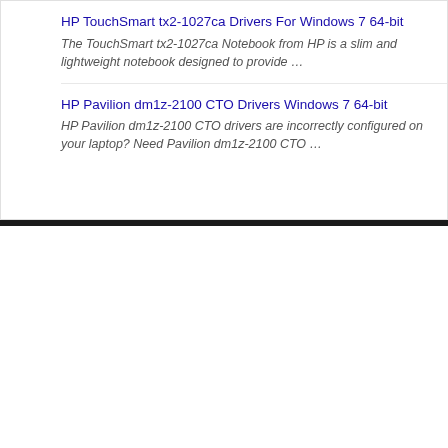HP TouchSmart tx2-1027ca Drivers For Windows 7 64-bit
The TouchSmart tx2-1027ca Notebook from HP is a slim and lightweight notebook designed to provide …
HP Pavilion dm1z-2100 CTO Drivers Windows 7 64-bit
HP Pavilion dm1z-2100 CTO drivers are incorrectly configured on your laptop? Need Pavilion dm1z-2100 CTO …